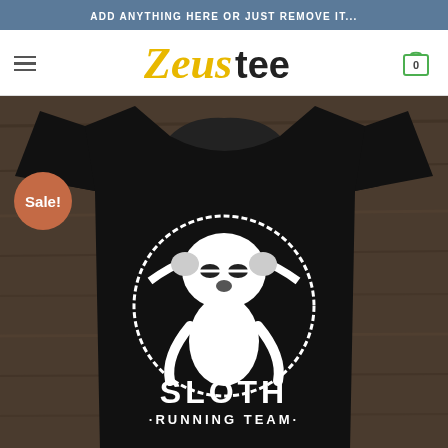ADD ANYTHING HERE OR JUST REMOVE IT...
Zeus tee
[Figure (photo): Black t-shirt with 'Sloth Running Team' logo featuring a cartoon sloth graphic, displayed on a wooden background with a 'Sale!' badge in the top left corner]